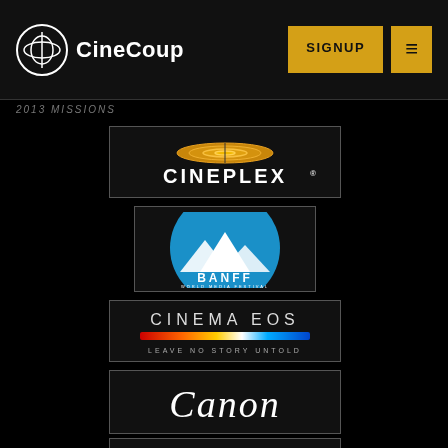[Figure (logo): CineCoup logo with icon and text]
SIGNUP
≡
2013 MISSIONS
[Figure (logo): Cineplex logo - gold oval with CINEPLEX text]
[Figure (logo): Banff World Media Festival logo - blue semicircle with mountains]
[Figure (logo): Canon Cinema EOS - Leave No Story Untold]
[Figure (logo): Canon logo in white script on black]
[Figure (logo): William F. White logo with Motorola-style symbol]